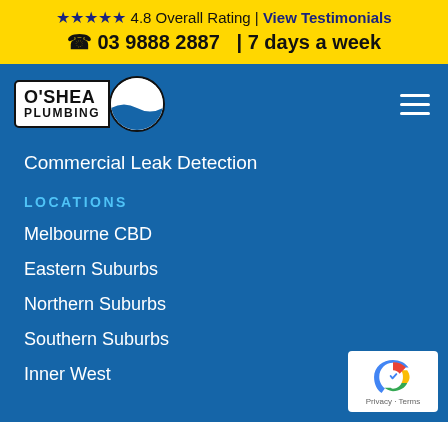★★★★★ 4.8 Overall Rating | View Testimonials
☎ 03 9888 2887 | 7 days a week
[Figure (logo): O'Shea Plumbing logo with text and circle icon]
Commercial Leak Detection
LOCATIONS
Melbourne CBD
Eastern Suburbs
Northern Suburbs
Southern Suburbs
Inner West